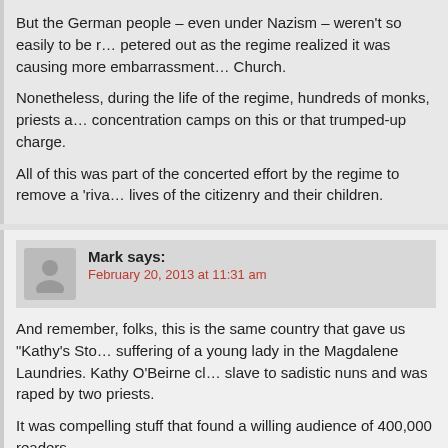But the German people – even under Nazism – weren't so easily to be ... petered out as the regime realized it was causing more embarrassment ... Church.
Nonetheless, during the life of the regime, hundreds of monks, priests a... concentration camps on this or that trumped-up charge.
All of this was part of the concerted effort by the regime to remove a 'riva... lives of the citizenry and their children.
Mark says:
February 20, 2013 at 11:31 am
And remember, folks, this is the same country that gave us "Kathy's Sto... suffering of a young lady in the Magdalene Laundries. Kathy O'Beirne cl... slave to sadistic nuns and was raped by two priests.
It was compelling stuff that found a willing audience of 400,000 readers.
And a gullible one. The book was exposed as one big lie by respected jo... ... "Kathy's Real Story"...